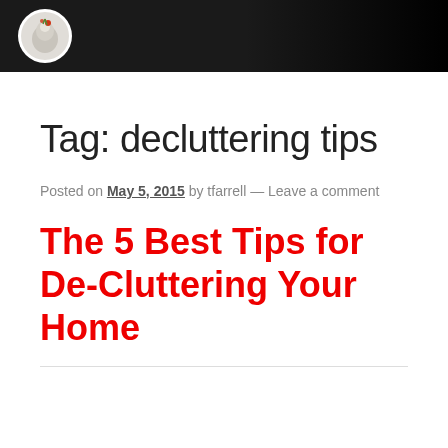[Logo/header bar with site icon]
Tag: decluttering tips
Posted on May 5, 2015 by tfarrell — Leave a comment
The 5 Best Tips for De-Cluttering Your Home